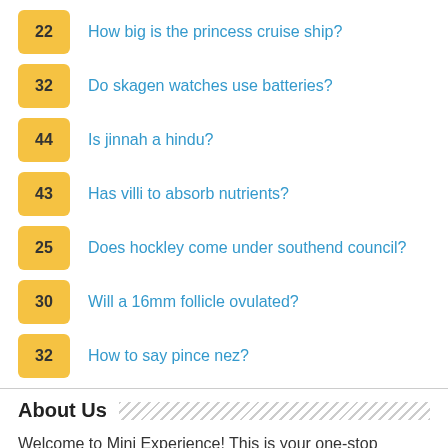22 How big is the princess cruise ship?
32 Do skagen watches use batteries?
44 Is jinnah a hindu?
43 Has villi to absorb nutrients?
25 Does hockley come under southend council?
30 Will a 16mm follicle ovulated?
32 How to say pince nez?
About Us
Welcome to Mini Experience! This is your one-stop encyclopedia that has numerous frequently asked questions answered. Our team has collected thousands